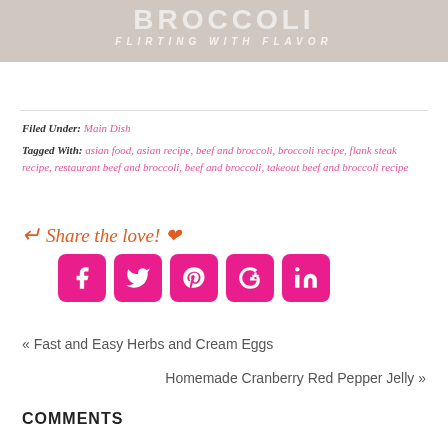[Figure (photo): Hero image showing the word BROCCOLI in large faded white letters with subtitle FLIRTING WITH FLAVOR below, on a warm beige/grey food photo background]
Filed Under: Main Dish
Tagged With: asian food, asian recipe, beef and broccoli, broccoli recipe, flank steak recipe, restaurant beef and broccoli, beef and broccoli, takeout beef and broccoli recipe
[Figure (infographic): Share the love! text in orange cursive with arrow, followed by 5 pink social media buttons: Facebook, Twitter, Pinterest, Google+, LinkedIn]
« Fast and Easy Herbs and Cream Eggs
Homemade Cranberry Red Pepper Jelly »
COMMENTS